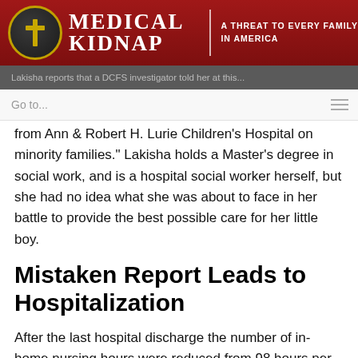MEDICAL KIDNAP | A THREAT TO EVERY FAMILY IN AMERICA
from Ann & Robert H. Lurie Children's Hospital on minority families.” Lakisha holds a Master’s degree in social work, and is a hospital social worker herself, but she had no idea what she was about to face in her battle to provide the best possible care for her little boy.
Mistaken Report Leads to Hospitalization
After the last hospital discharge the number of in-home nursing hours were reduced from 98 hours per week to 56, and a different agency provided the services. On October 24, 2013, Lakisha received a call to bring Malik in to Lurie Hospital immediately, due to weight loss reported by the nursing agency. Though it was late in the day, she took him in. He was weighed and labs were drawn. He had a weight loss of almost a pound and a half. However, this was a far